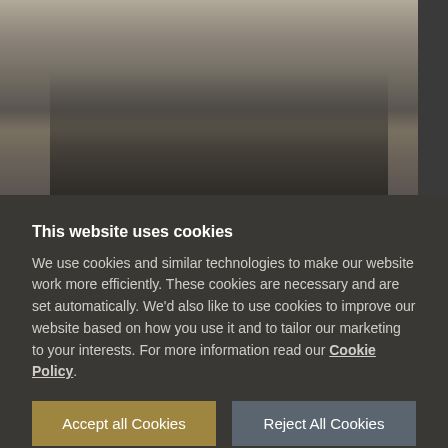[Figure (photo): Black and white photograph of soldiers wearing helmets, lined up in a row with vegetation/foliage in the background.]
This website uses cookies
We use cookies and similar technologies to make our website work more efficiently. These cookies are necessary and are set automatically. We'd also like to use cookies to improve our website based on how you use it and to tailor our marketing to your interests. For more information read our Cookie Policy.
Accept all Cookies
Reject All Cookies
Manage Cookies